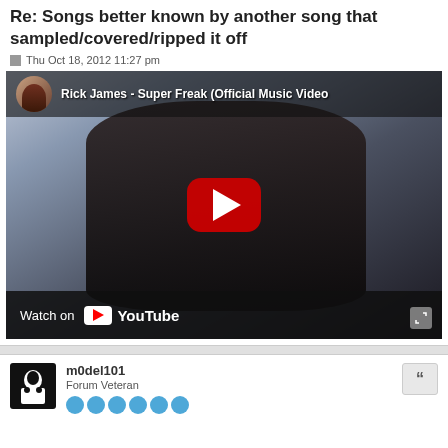Re: Songs better known by another song that sampled/covered/ripped it off
Thu Oct 18, 2012 11:27 pm
[Figure (screenshot): YouTube embedded video player showing Rick James - Super Freak (Official Music Video) with a play button overlay and Watch on YouTube bar at the bottom]
m0del101
Forum Veteran